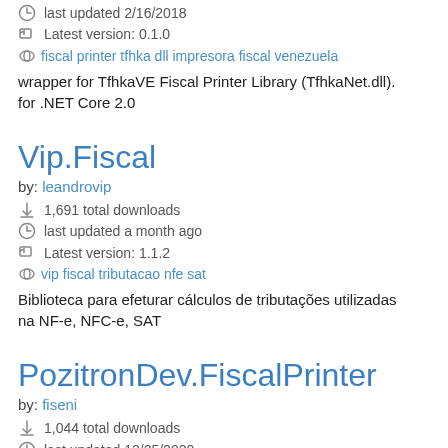last updated 2/16/2018
Latest version: 0.1.0
fiscal printer tfhka dll impresora fiscal venezuela
wrapper for TfhkaVE Fiscal Printer Library (TfhkaNet.dll). for .NET Core 2.0
Vip.Fiscal
by: leandrovip
1,691 total downloads
last updated a month ago
Latest version: 1.1.2
vip fiscal tributacao nfe sat
Biblioteca para efeturar cálculos de tributações utilizadas na NF-e, NFC-e, SAT
PozitronDev.FiscalPrinter
by: fiseni
1,044 total downloads
last updated 12/25/2020